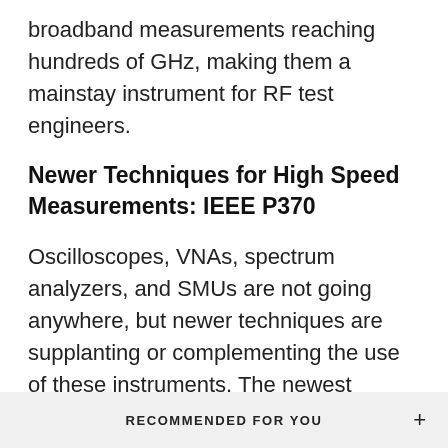broadband measurements reaching hundreds of GHz, making them a mainstay instrument for RF test engineers.
Newer Techniques for High Speed Measurements: IEEE P370
Oscilloscopes, VNAs, spectrum analyzers, and SMUs are not going anywhere, but newer techniques are supplanting or complementing the use of these instruments. The newest measurement technique is IEEE P370,
RECOMMENDED FOR YOU